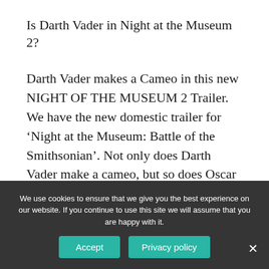Is Darth Vader in Night at the Museum 2?
Darth Vader makes a Cameo in this new NIGHT OF THE MUSEUM 2 Trailer. We have the new domestic trailer for ‘Night at the Museum: Battle of the Smithsonian’. Not only does Darth Vader make a cameo, but so does Oscar the Grouch.
Is Caroll Spinney still Big Bird?
Besides the sweet-natured giant yellow bird, he also
We use cookies to ensure that we give you the best experience on our website. If you continue to use this site we will assume that you are happy with it.